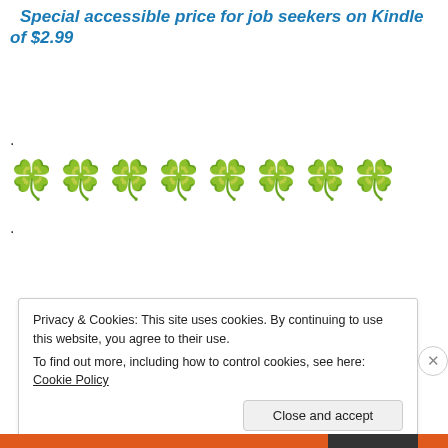Special accessible price for job seekers on Kindle of $2.99
.
[Figure (illustration): Eight green four-leaf clover emoji in a horizontal row]
.
Privacy & Cookies: This site uses cookies. By continuing to use this website, you agree to their use.
To find out more, including how to control cookies, see here: Cookie Policy
Close and accept